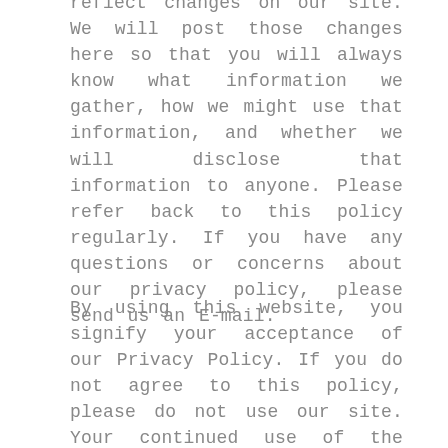reflect changes on our site. We will post those changes here so that you will always know what information we gather, how we might use that information, and whether we will disclose that information to anyone. Please refer back to this policy regularly. If you have any questions or concerns about our privacy policy, please send us an E-mail.
By using this website, you signify your acceptance of our Privacy Policy. If you do not agree to this policy, please do not use our site. Your continued use of the website following the